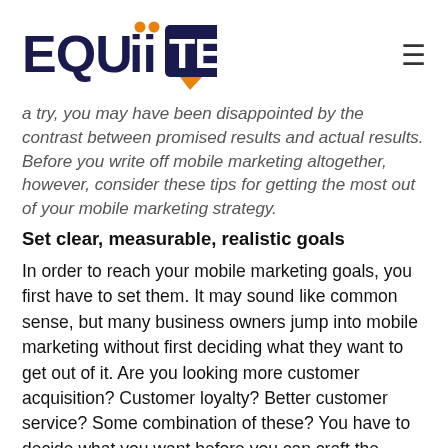[Figure (logo): EquiiText logo with orange dots over the two i's and a speech bubble tail on the T, with TM mark]
a try, you may have been disappointed by the contrast between promised results and actual results. Before you write off mobile marketing altogether, however, consider these tips for getting the most out of your mobile marketing strategy.
Set clear, measurable, realistic goals
In order to reach your mobile marketing goals, you first have to set them. It may sound like common sense, but many business owners jump into mobile marketing without first deciding what they want to get out of it. Are you looking more customer acquisition? Customer loyalty? Better customer service? Some combination of these? You have to decide what you want before you can craft the perfect mobile campaign to get you there.